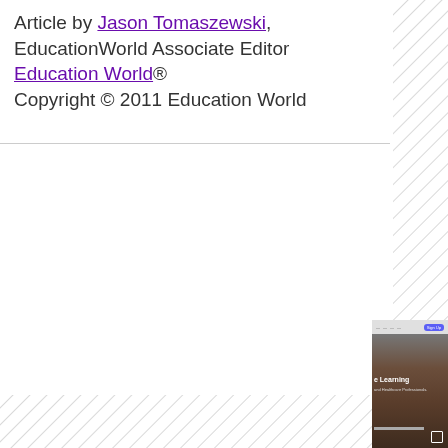Article by Jason Tomaszewski, EducationWorld Associate Editor
Education World®
Copyright © 2011 Education World
[Figure (screenshot): Partial screenshot of a website showing a browser toolbar and a dark background with text 'Learning' and a subtitle, with a progress bar and expand icon.]